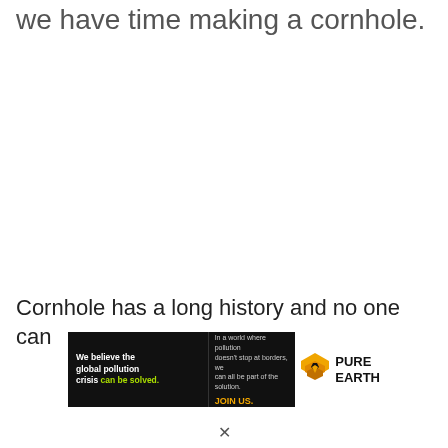we have time making a cornhole.
Cornhole has a long history and no one can
[Figure (infographic): Pure Earth advertisement banner. Left black section reads 'We believe the global pollution crisis can be solved.' with 'can be solved.' in green. Middle black section reads 'In a world where pollution doesn't stop at borders, we can all be part of the solution.' with 'JOIN US.' in orange. Right white section shows the Pure Earth logo with diamond/chevron icon in yellow and black, and 'PURE EARTH' text in bold black.]